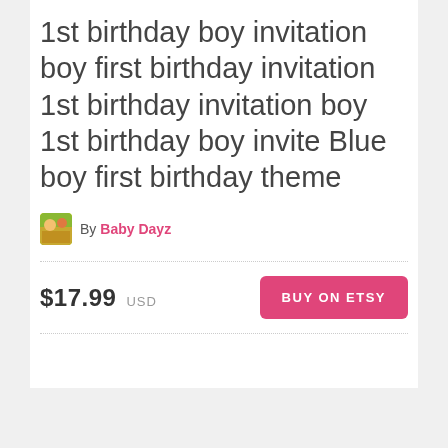1st birthday boy invitation boy first birthday invitation 1st birthday invitation boy 1st birthday boy invite Blue boy first birthday theme
By Baby Dayz
$17.99 USD
BUY ON ETSY